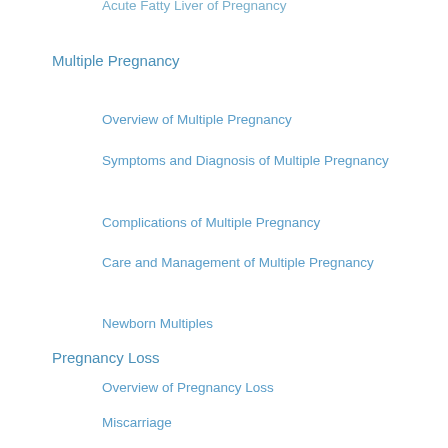Acute Fatty Liver of Pregnancy
Multiple Pregnancy
Overview of Multiple Pregnancy
Symptoms and Diagnosis of Multiple Pregnancy
Complications of Multiple Pregnancy
Care and Management of Multiple Pregnancy
Newborn Multiples
Pregnancy Loss
Overview of Pregnancy Loss
Miscarriage
Ectopic Pregnancy
Postpartum Hemorrhage
Pregnancy and Medical Conditions